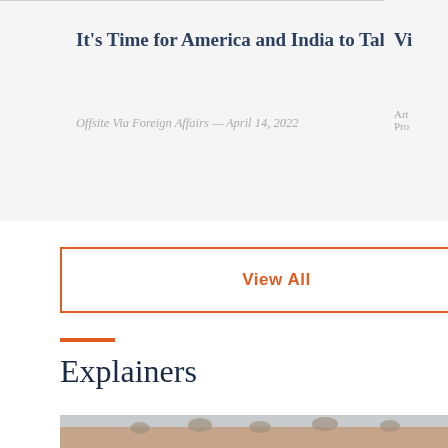It's Time for America and India to Talk Trade
Offsite Via Foreign Affairs — April 14, 2022
Vi
Art Pro
View All
Explainers
[Figure (photo): Rooftop photo showing multiple satellite dishes on buildings in what appears to be a Middle Eastern or South Asian city. People visible at bottom right.]